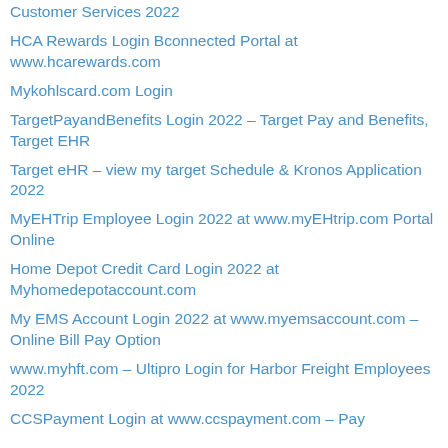Customer Services 2022
HCA Rewards Login Bconnected Portal at www.hcarewards.com
Mykohlscard.com Login
TargetPayandBenefits Login 2022 – Target Pay and Benefits, Target EHR
Target eHR – view my target Schedule & Kronos Application 2022
MyEHTrip Employee Login 2022 at www.myEHtrip.com Portal Online
Home Depot Credit Card Login 2022 at Myhomedepotaccount.com
My EMS Account Login 2022 at www.myemsaccount.com – Online Bill Pay Option
www.myhft.com – Ultipro Login for Harbor Freight Employees 2022
CCSPayment Login at www.ccspayment.com – Pay